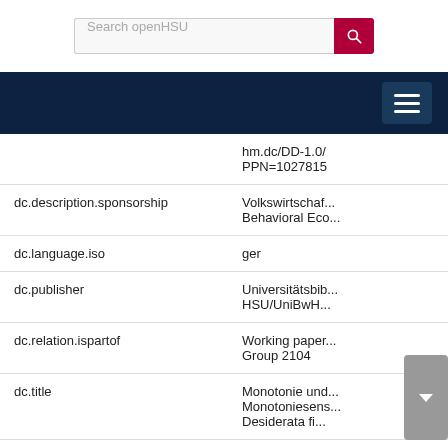[Figure (screenshot): Search bar with text 'Search openHSU' and a red search button with magnifying glass icon]
[Figure (screenshot): Dark navy navigation bar with hamburger menu button on the right]
| Field | Value |
| --- | --- |
|  | hm.dc/DD-1.0/
PPN=1027815 |
| dc.description.sponsorship | Volkswirtschaf...
Behavioral Eco... |
| dc.language.iso | ger |
| dc.publisher | Universitätsbib...
HSU/UniBwH... |
| dc.relation.ispartof | Working paper...
Group 2104 |
| dc.title | Monotonie und...
Monotoniesens...
Desiderata fi... |